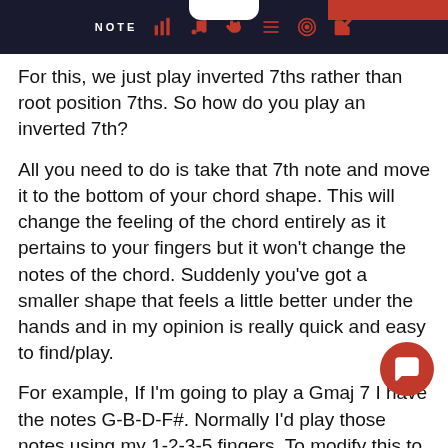NOTE [icons: bar chart, music note, hand, list, target, pencil]
For this, we just play inverted 7ths rather than root position 7ths. So how do you play an inverted 7th?
All you need to do is take that 7th note and move it to the bottom of your chord shape. This will change the feeling of the chord entirely as it pertains to your fingers but it won't change the notes of the chord. Suddenly you've got a smaller shape that feels a little better under the hands and in my opinion is really quick and easy to find/play.
For example, If I'm going to play a Gmaj 7 I have the notes G-B-D-F#. Normally I'd play those notes using my 1-2-3-5 fingers. To modify this to make it smaller you can play the notes of your G chord without the 7 (G-B-D) using your 2-3-5 fingers. Then, your thumb is positioned to play that 7th note just below the root note. Now